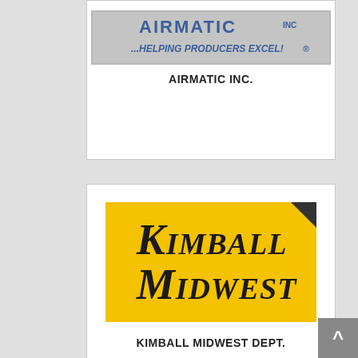[Figure (logo): Airmatic Inc. logo — blue text on gray background with tagline '...HELPING PRODUCERS EXCEL!']
AIRMATIC INC.
[Figure (logo): Kimball Midwest logo — bold italic serif text on yellow background with black corner triangle]
KIMBALL MIDWEST DEPT.
[Figure (logo): Patterson logo — blue 'PATTERSON' text with globe/P icon and tagline 'Your Single Source Supplier']